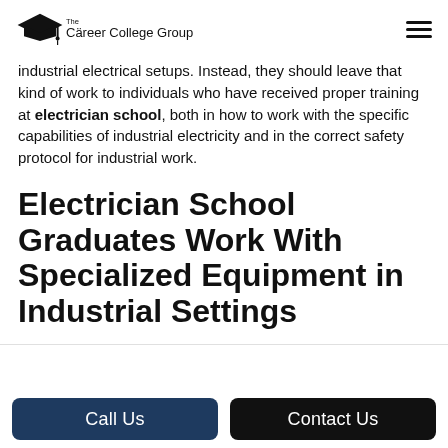The Career College Group
industrial electrical setups. Instead, they should leave that kind of work to individuals who have received proper training at electrician school, both in how to work with the specific capabilities of industrial electricity and in the correct safety protocol for industrial work.
Electrician School Graduates Work With Specialized Equipment in Industrial Settings
Call Us
Contact Us